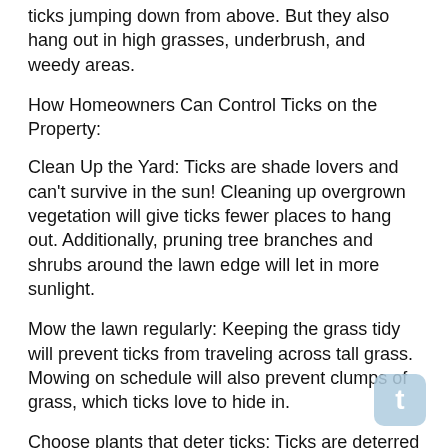ticks jumping down from above. But they also hang out in high grasses, underbrush, and weedy areas.
How Homeowners Can Control Ticks on the Property:
Clean Up the Yard: Ticks are shade lovers and can't survive in the sun! Cleaning up overgrown vegetation will give ticks fewer places to hang out. Additionally, pruning tree branches and shrubs around the lawn edge will let in more sunlight.
Mow the lawn regularly: Keeping the grass tidy will prevent ticks from traveling across tall grass. Mowing on schedule will also prevent clumps of grass, which ticks love to hide in.
Choose plants that deter ticks: Ticks are deterred by mint, lavender, rosemary, marigolds and citronella grass. An added bonus is that mosquitoes and fleas also hate these strong-smelling plants, so start planting!
Keep Deer Off the Property: Deer are the primary carrier